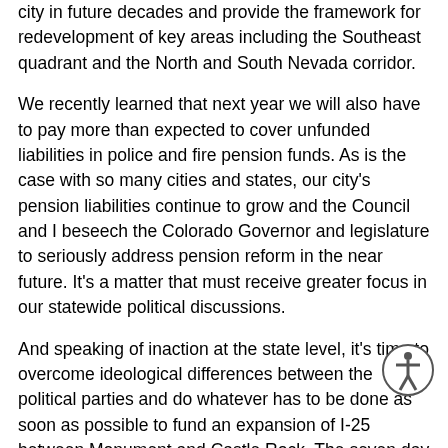city in future decades and provide the framework for redevelopment of key areas including the Southeast quadrant and the North and South Nevada corridor.
We recently learned that next year we will also have to pay more than expected to cover unfunded liabilities in police and fire pension funds. As is the case with so many cities and states, our city's pension liabilities continue to grow and the Council and I beseech the Colorado Governor and legislature to seriously address pension reform in the near future. It's a matter that must receive greater focus in our statewide political discussions.
And speaking of inaction at the state level, it's time to overcome ideological differences between the political parties and do whatever has to be done as soon as possible to fund an expansion of I-25 between Monument and Castle Rock. The seven day a week log jam between Colorado Springs and Denver is hurting commerce between our two great cities and the proposed ten year time frame for a fix is simply unacceptable. It only took eight years after John Kennedy's challenge to America to land a man on the moon. Surely we can expand 17 miles of interstate a heck of a lot sooner than that.